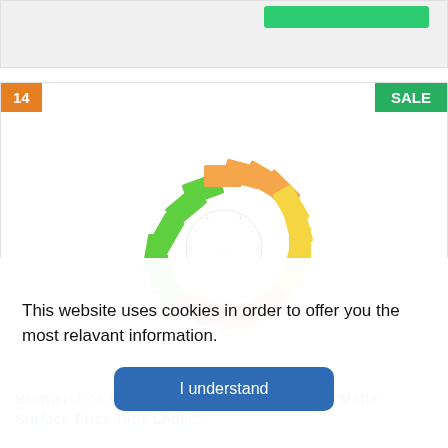[Figure (screenshot): Top portion of a product card with a green button partially visible]
[Figure (photo): Circular arrangement of colorful price tags with strings in green, orange, yellow, and pink/red colors with white strings in the center. Product image for Brothersbox Color Tags.]
Brothersbox Color Tags with String, 1000pcs Matte Surface Price Tags Label...
This website uses cookies in order to offer you the most relavant information.
I understand